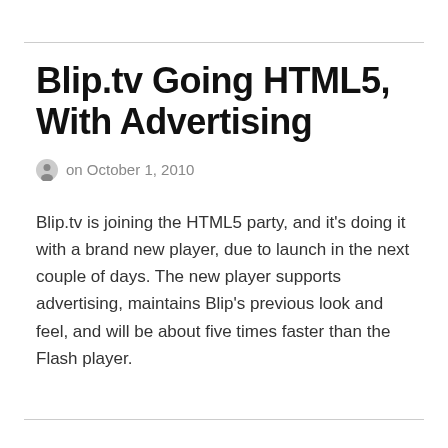Blip.tv Going HTML5, With Advertising
on October 1, 2010
Blip.tv is joining the HTML5 party, and it's doing it with a brand new player, due to launch in the next couple of days. The new player supports advertising, maintains Blip's previous look and feel, and will be about five times faster than the Flash player.